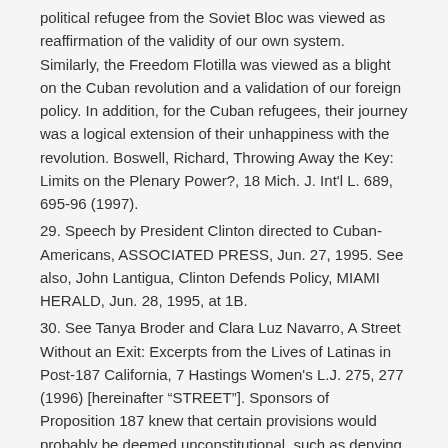political refugee from the Soviet Bloc was viewed as reaffirmation of the validity of our own system. Similarly, the Freedom Flotilla was viewed as a blight on the Cuban revolution and a validation of our foreign policy. In addition, for the Cuban refugees, their journey was a logical extension of their unhappiness with the revolution. Boswell, Richard, Throwing Away the Key: Limits on the Plenary Power?, 18 Mich. J. Int'l L. 689, 695-96 (1997).
29. Speech by President Clinton directed to Cuban-Americans, ASSOCIATED PRESS, Jun. 27, 1995. See also, John Lantigua, Clinton Defends Policy, MIAMI HERALD, Jun. 28, 1995, at 1B.
30. See Tanya Broder and Clara Luz Navarro, A Street Without an Exit: Excerpts from the Lives of Latinas in Post-187 California, 7 Hastings Women's L.J. 275, 277 (1996) [hereinafter "STREET"]. Sponsors of Proposition 187 knew that certain provisions would probably be deemed unconstitutional, such as denying elementary